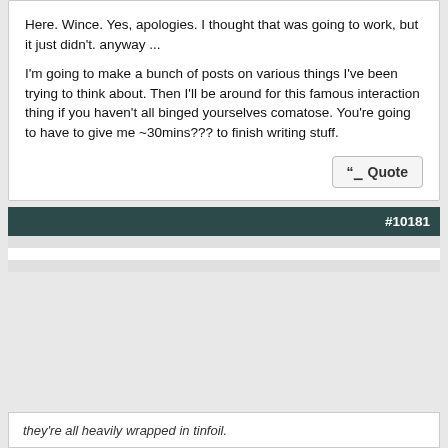Here. Wince. Yes, apologies. I thought that was going to work, but it just didn't. anyway ...
I'm going to make a bunch of posts on various things I've been trying to think about. Then I'll be around for this famous interaction thing if you haven't all binged yourselves comatose. You're going to have to give me ~30mins??? to finish writing stuff.
Quote
#10181
This website uses cookies to ensure you get the best experience and relevant advertisements while visiting. Learn more
Got it!
they're all heavily wrapped in tinfoil.